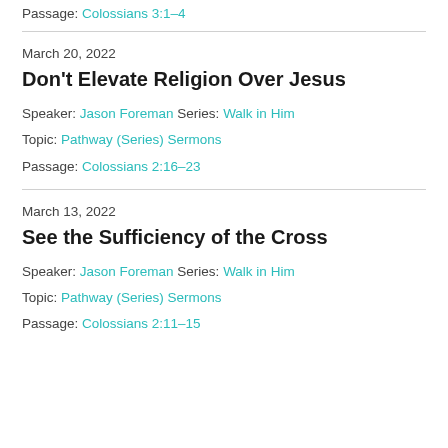Passage: Colossians 3:1–4
March 20, 2022
Don't Elevate Religion Over Jesus
Speaker: Jason Foreman Series: Walk in Him
Topic: Pathway (Series) Sermons
Passage: Colossians 2:16–23
March 13, 2022
See the Sufficiency of the Cross
Speaker: Jason Foreman Series: Walk in Him
Topic: Pathway (Series) Sermons
Passage: Colossians 2:11–15